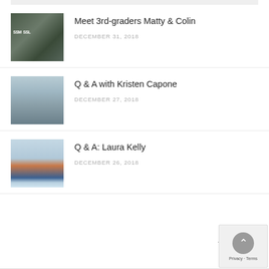Meet 3rd-graders Matty & Colin
DECEMBER 31, 2018
Q & A with Kristen Capone
DECEMBER 27, 2018
Q & A: Laura Kelly
DECEMBER 26, 2018
Arch